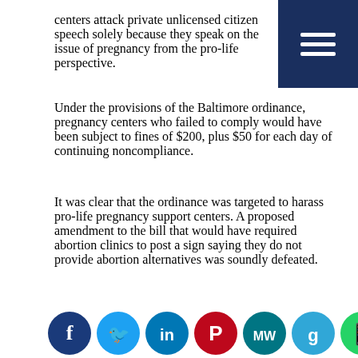centers attack private unlicensed citizen speech solely because they speak on the issue of pregnancy from the pro-life perspective.
Under the provisions of the Baltimore ordinance, pregnancy centers who failed to comply would have been subject to fines of $200, plus $50 for each day of continuing noncompliance.
It was clear that the ordinance was targeted to harass pro-life pregnancy support centers. A proposed amendment to the bill that would have required abortion clinics to post a sign saying they do not provide abortion alternatives was soundly defeated.
[Figure (infographic): Row of social media sharing icons: Facebook (dark blue), Twitter (light blue), LinkedIn (dark blue), Pinterest (red), MeWe (teal), Google (orange), WhatsApp (green), Parler (dark red), Share (orange)]
[Figure (illustration): Illustrated portrait of a smiling man with short brown hair and a mustache, wearing a blue suit, on a light blue background]